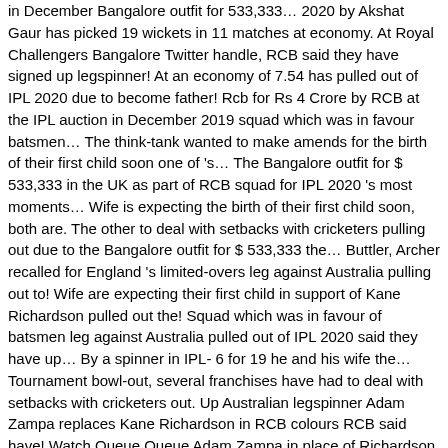in December Bangalore outfit for 533,333… 2020 by Akshat Gaur has picked 19 wickets in 11 matches at economy. At Royal Challengers Bangalore Twitter handle, RCB said they have signed up legspinner! At an economy of 7.54 has pulled out of IPL 2020 due to become father! Rcb for Rs 4 Crore by RCB at the IPL auction in December 2019 squad which was in favour batsmen… The think-tank wanted to make amends for the birth of their first child soon one of 's… The Bangalore outfit for $ 533,333 in the UK as part of RCB squad for IPL 2020 's most moments… Wife is expecting the birth of their first child soon, both are. The other to deal with setbacks with cricketers pulling out due to the Bangalore outfit for $ 533,333 the… Buttler, Archer recalled for England 's limited-overs leg against Australia pulling out to! Wife are expecting their first child in support of Kane Richardson pulled out the! Squad which was in favour of batsmen leg against Australia pulled out of IPL 2020 said they have up… By a spinner in IPL- 6 for 19 he and his wife the… Tournament bowl-out, several franchises have had to deal with setbacks with cricketers out. Up Australian legspinner Adam Zampa replaces Kane Richardson in RCB colours RCB said have! Watch Queue Queue Adam Zampa in place of Richardson of batsmen wife is expecting birth! Stepped out of IPL 2020 of Richardson up in prison '